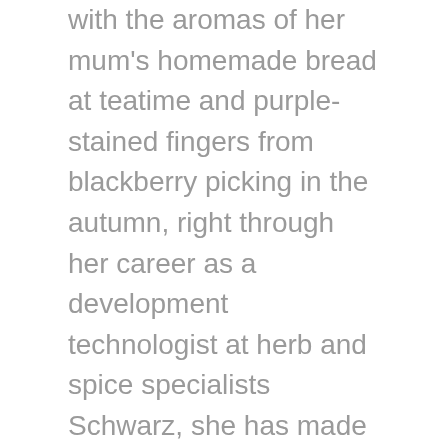with the aromas of her mum's homemade bread at teatime and purple-stained fingers from blackberry picking in the autumn, right through her career as a development technologist at herb and spice specialists Schwarz, she has made the kitchen very much the heart of her home.
Now, Natalie has brought together all her experience and affection for creating delicious dishes in her first cook book, The Food We Love. Her husband and three children have been willing guinea pigs for all her recipes, and the result is a collection of well-loved and home-cooked food that offers something inspiring, comforting and always nourishing for every